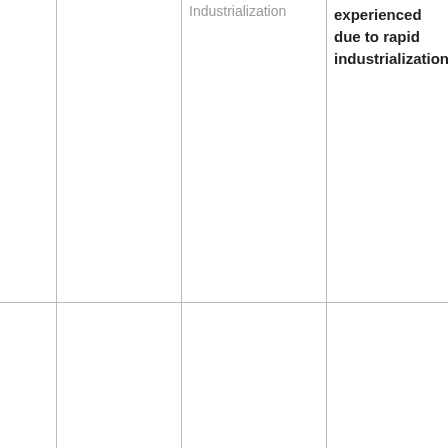| # | Subject | Topic | Objectives | Activities (partial) |
| --- | --- | --- | --- | --- |
|  |  | Industrialization (partial) | experienced due to rapid industrialization | D… – C… |
| 1 | Fishing | Fishing ground | By the end of the lesson the learner should be able to identify major fishing grounds | – C… m… – Ic… sy… – D… sy… – In… |